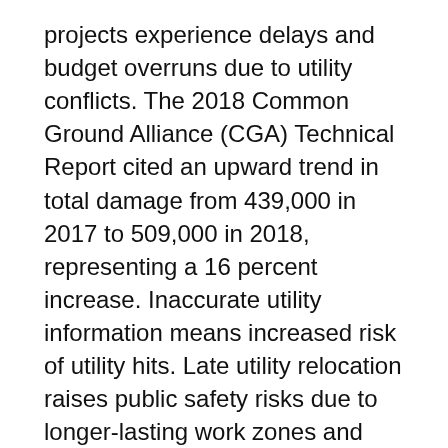projects experience delays and budget overruns due to utility conflicts. The 2018 Common Ground Alliance (CGA) Technical Report cited an upward trend in total damage from 439,000 in 2017 to 509,000 in 2018, representing a 16 percent increase. Inaccurate utility information means increased risk of utility hits. Late utility relocation raises public safety risks due to longer-lasting work zones and exposure to worker strikes and striking a utility line occurs every minute somewhere in the USA.
We must have an industry paradigm shift to reverse this trend. The industry is experiencing too much property damage and loss of lives.